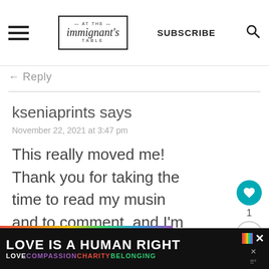— AT THE — immignant's TABLE | SUBSCRIBE
← Reply
kseniaprints says
November 22, 2021 at 3:47 pm
This really moved me! Thank you for taking the time to read my musin and to comment, and I'm
WHAT'S NEXT → The Jewish Food Projec...
LOVE IS A HUMAN RIGHT
LOVE COMPASSION CHARITY BELONGING